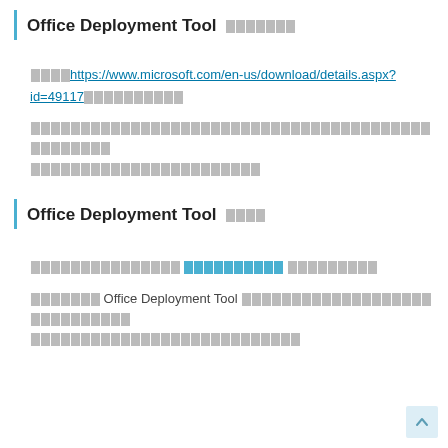Office Deployment Tool [CJK characters]
[CJK link] https://www.microsoft.com/en-us/download/details.aspx?id=49117 [CJK characters]
[CJK paragraph text]
Office Deployment Tool [CJK characters]
[CJK text with hyperlink and more CJK]
[CJK text] Office Deployment Tool [CJK text]